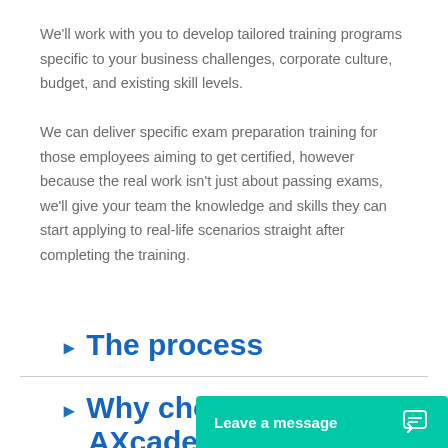We'll work with you to develop tailored training programs specific to your business challenges, corporate culture, budget, and existing skill levels.
We can deliver specific exam preparation training for those employees aiming to get certified, however because the real work isn't just about passing exams, we'll give your team the knowledge and skills they can start applying to real-life scenarios straight after completing the training.
The process
Why choose AXcademy?
Your ne…